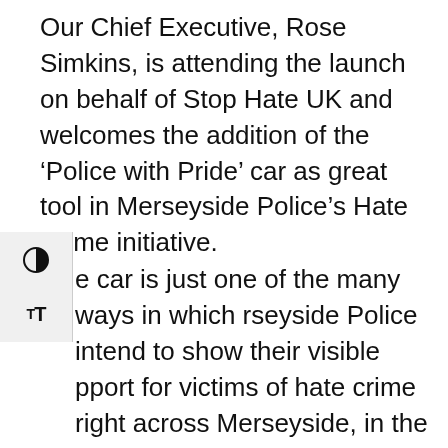Our Chief Executive, Rose Simkins, is attending the launch on behalf of Stop Hate UK and welcomes the addition of the ‘Police with Pride’ car as great tool in Merseyside Police’s Hate Crime initiative.
e car is just one of the many ways in which rseyside Police intend to show their visible pport for victims of hate crime right across Merseyside, in the hope that this it will encourage more victims of hate crime to come forward and report incidents to the Police and also further increase engagement with the public.